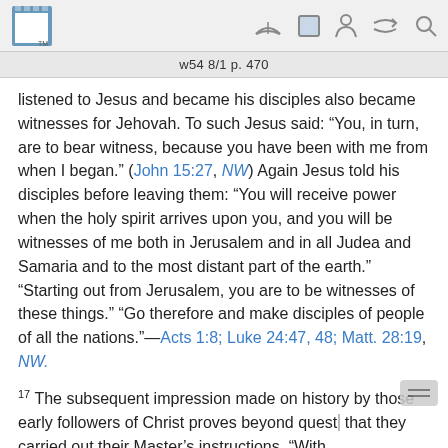w54 8/1 p. 470
listened to Jesus and became his disciples also became witnesses for Jehovah. To such Jesus said: “You, in turn, are to bear witness, because you have been with me from when I began.” (John 15:27, NW) Again Jesus told his disciples before leaving them: “You will receive power when the holy spirit arrives upon you, and you will be witnesses of me both in Jerusalem and in all Judea and Samaria and to the most distant part of the earth.” “Starting out from Jerusalem, you are to be witnesses of these things.” “Go therefore and make disciples of people of all the nations.”—Acts 1:8; Luke 24:47, 48; Matt. 28:19, NW.
17 The subsequent impression made on history by those early followers of Christ proves beyond quest that they carried out their Master’s instructions. “With